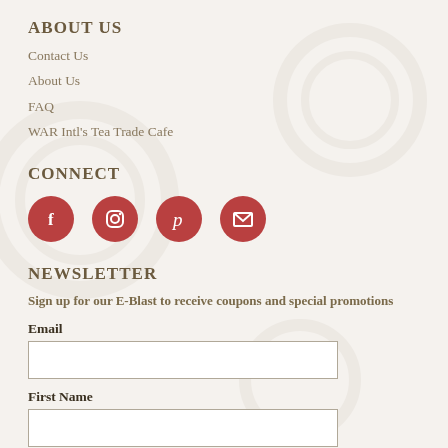ABOUT US
Contact Us
About Us
FAQ
WAR Intl's Tea Trade Cafe
CONNECT
[Figure (infographic): Four red circular social media icons: Facebook, Instagram, Pinterest, Email]
NEWSLETTER
Sign up for our E-Blast to receive coupons and special promotions
Email
First Name